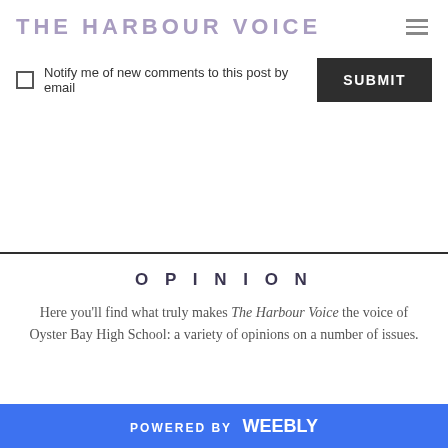THE HARBOUR VOICE
Notify me of new comments to this post by email  SUBMIT
OPINION
Here you'll find what truly makes The Harbour Voice the voice of Oyster Bay High School: a variety of opinions on a number of issues.
POWERED BY weebly